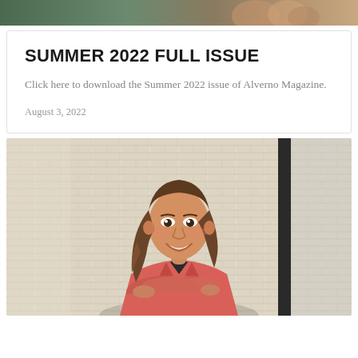[Figure (photo): Partial top banner photo showing people, cropped at top of page]
SUMMER 2022 FULL ISSUE
Click here to download the Summer 2022 issue of Alverno Magazine.
August 3, 2022
[Figure (photo): Portrait photo of a young woman with long brown hair, wearing a coral/pink blazer over a dark top, standing with arms crossed in front of a white brick wall, smiling at camera]